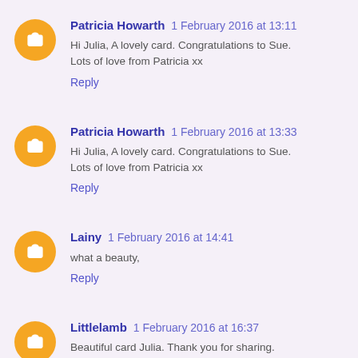Patricia Howarth 1 February 2016 at 13:11
Hi Julia, A lovely card. Congratulations to Sue. Lots of love from Patricia xx
Reply
Patricia Howarth 1 February 2016 at 13:33
Hi Julia, A lovely card. Congratulations to Sue. Lots of love from Patricia xx
Reply
Lainy 1 February 2016 at 14:41
what a beauty,
Reply
Littlelamb 1 February 2016 at 16:37
Beautiful card Julia. Thank you for sharing.